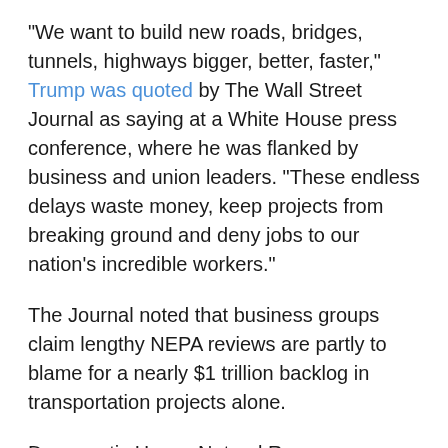“We want to build new roads, bridges, tunnels, highways bigger, better, faster,” Trump was quoted by The Wall Street Journal as saying at a White House press conference, where he was flanked by business and union leaders. “These endless delays waste money, keep projects from breaking ground and deny jobs to our nation’s incredible workers.”
The Journal noted that business groups claim lengthy NEPA reviews are partly to blame for a nearly $1 trillion backlog in transportation projects alone.
Democratic House Natural Resources Committee Chairman Raul Grijalva of Arizona said in a press release, “Polluting industries need more public oversight, not less, and supporting this approach means ignoring real-world consequences in favor of Trump administration fairy tales.